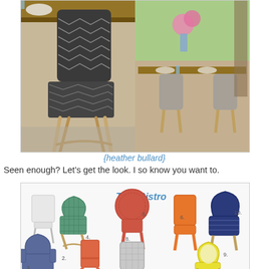[Figure (photo): Two photos side by side: close-up of a woven bistro chair with rattan legs next to a wooden dining table (left), and an outdoor dining scene with multiple woven bistro chairs around a wooden table with flowers and greenery in background (right).]
{heather bullard}
Seen enough? Let's get the look. I so know you want to.
[Figure (photo): A product collage of multiple colorful bistro/cafe style woven chairs in various colors (white, blue/green checked, red/coral, orange, navy blue, gray-blue, tan/orange, gray, yellow/white) with handwritten text 'Tres Bistro' and numbered labels 1-10.]